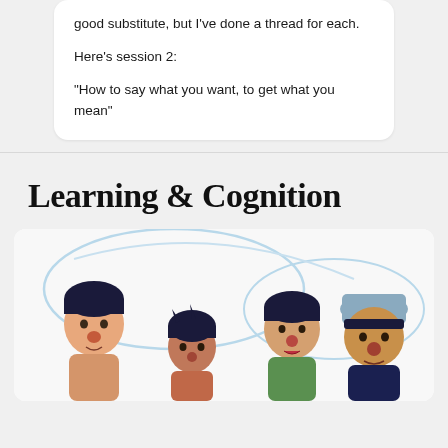good substitute, but I've done a thread for each.

Here's session 2:

"How to say what you want, to get what you mean"
Learning & Cognition
[Figure (illustration): Illustration of four cartoon-style human figures with dark hair, shown from shoulders up. One figure on the right wears a light blue hat. The background includes light blue curved lines suggesting a speech bubble or connective element.]